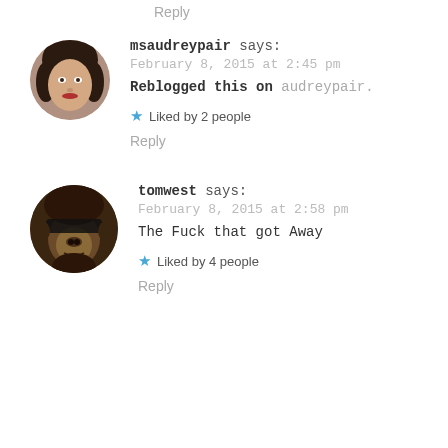Reply
[Figure (photo): Circular avatar of a young woman with dark hair and red lipstick]
msaudreypair says:
February 8, 2015 at 2:45 pm
Reblogged this on audreypair.
Liked by 2 people
Reply
[Figure (photo): Circular avatar of a monkey/ape with what appears to be a mask covering its eyes]
tomwest says:
February 8, 2015 at 2:58 pm
The Fuck that got Away
Liked by 4 people
Reply